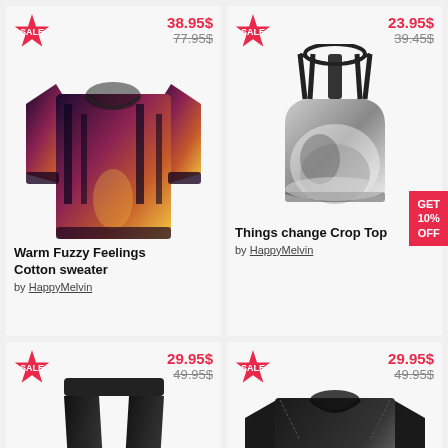[Figure (photo): Product card: Warm Fuzzy Feelings Cotton sweater by HappyMelvin, sale price 38.95$, original 77.95$, forest print long-sleeve sweater]
[Figure (photo): Product card: Things change Crop Top by HappyMelvin, sale price 23.95$, original 39.45$, horse print sports bra crop top]
[Figure (photo): Product card: sale price 29.95$, original 49.95$, wolf print black leggings]
[Figure (photo): Product card: sale price 29.95$, original 49.95$, wolf print black t-shirt]